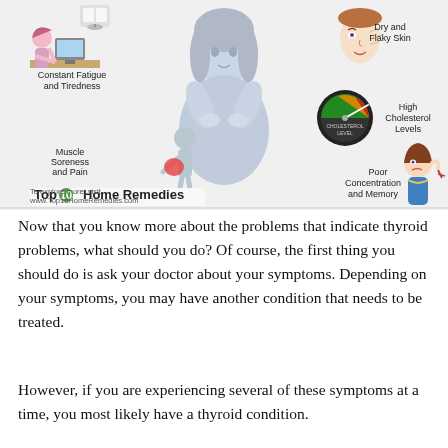[Figure (infographic): Medical infographic showing thyroid problem symptoms: Constant Fatigue and Tiredness (woman at desk), Muscle Soreness and Pain (person with back pain), Dry and Flaky Skin (face illustration), High Cholesterol Levels (gauge meter), Poor Concentration and Memory (woman holding head), center image of woman holding throat. Top10 Home Remedies logo and website URL.]
Now that you know more about the problems that indicate thyroid problems, what should you do? Of course, the first thing you should do is ask your doctor about your symptoms. Depending on your symptoms, you may have another condition that needs to be treated.
However, if you are experiencing several of these symptoms at a time, you most likely have a thyroid condition.